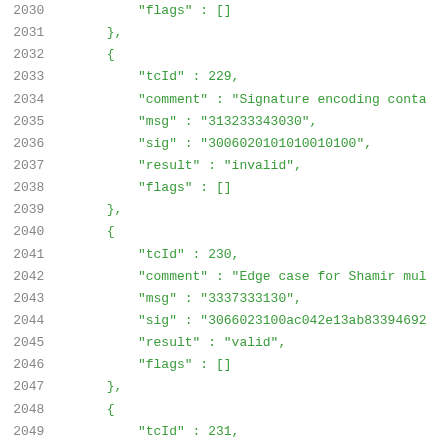2030    "flags" : []
2031    },
2032    {
2033        "tcId" : 229,
2034        "comment" : "Signature encoding conta
2035        "msg" : "313233343030",
2036        "sig" : "30060201010010100",
2037        "result" : "invalid",
2038        "flags" : []
2039    },
2040    {
2041        "tcId" : 230,
2042        "comment" : "Edge case for Shamir mul
2043        "msg" : "3337333130",
2044        "sig" : "3066023100ac042e13ab83394692
2045        "result" : "valid",
2046        "flags" : []
2047    },
2048    {
2049        "tcId" : 231,
2050        "comment" : "special case hash",